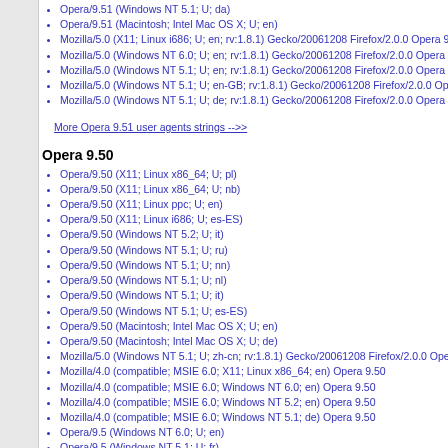Opera/9.51 (Windows NT 5.1; U; da)
Opera/9.51 (Macintosh; Intel Mac OS X; U; en)
Mozilla/5.0 (X11; Linux i686; U; en; rv:1.8.1) Gecko/20061208 Firefox/2.0.0 Opera 9...
Mozilla/5.0 (Windows NT 6.0; U; en; rv:1.8.1) Gecko/20061208 Firefox/2.0.0 Opera...
Mozilla/5.0 (Windows NT 5.1; U; en; rv:1.8.1) Gecko/20061208 Firefox/2.0.0 Opera...
Mozilla/5.0 (Windows NT 5.1; U; en-GB; rv:1.8.1) Gecko/20061208 Firefox/2.0.0 Op...
Mozilla/5.0 (Windows NT 5.1; U; de; rv:1.8.1) Gecko/20061208 Firefox/2.0.0 Opera...
More Opera 9.51 user agents strings -->>
Opera 9.50
Opera/9.50 (X11; Linux x86_64; U; pl)
Opera/9.50 (X11; Linux x86_64; U; nb)
Opera/9.50 (X11; Linux ppc; U; en)
Opera/9.50 (X11; Linux i686; U; es-ES)
Opera/9.50 (Windows NT 5.2; U; it)
Opera/9.50 (Windows NT 5.1; U; ru)
Opera/9.50 (Windows NT 5.1; U; nn)
Opera/9.50 (Windows NT 5.1; U; nl)
Opera/9.50 (Windows NT 5.1; U; it)
Opera/9.50 (Windows NT 5.1; U; es-ES)
Opera/9.50 (Macintosh; Intel Mac OS X; U; en)
Opera/9.50 (Macintosh; Intel Mac OS X; U; de)
Mozilla/5.0 (Windows NT 5.1; U; zh-cn; rv:1.8.1) Gecko/20061208 Firefox/2.0.0 Ope...
Mozilla/4.0 (compatible; MSIE 6.0; X11; Linux x86_64; en) Opera 9.50
Mozilla/4.0 (compatible; MSIE 6.0; Windows NT 6.0; en) Opera 9.50
Mozilla/4.0 (compatible; MSIE 6.0; Windows NT 5.2; en) Opera 9.50
Mozilla/4.0 (compatible; MSIE 6.0; Windows NT 5.1; de) Opera 9.50
Opera/9.5 (Windows NT 6.0; U; en)
Opera/9.5 (Windows NT 5.1; U; fr)
Mozilla/5.0 (Windows; U; Windows NT 5.1; de; rv:1.9b3) Gecko/2008020514 Opera...
Opera 9.4